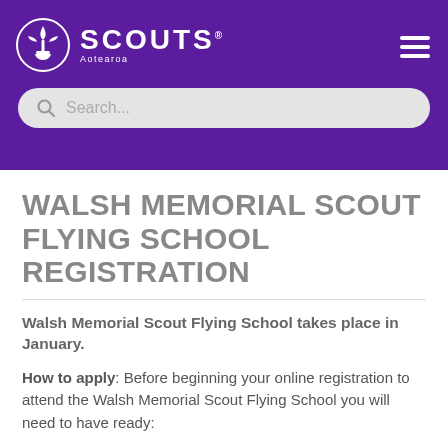[Figure (logo): Scouts Aotearoa logo with fleur-de-lis emblem on purple header background]
[Figure (screenshot): Search bar input field with search icon and placeholder text 'Search...']
WALSH MEMORIAL SCOUT FLYING SCHOOL REGISTRATION
Walsh Memorial Scout Flying School takes place in January.
How to apply: Before beginning your online registration to attend the Walsh Memorial Scout Flying School you will need to have ready: